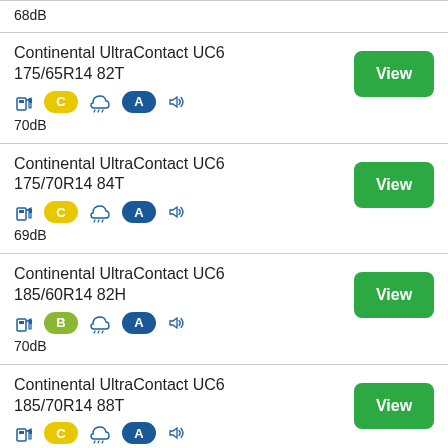68dB
Continental UltraContact UC6
175/65R14 82T
C | A | 70dB
Continental UltraContact UC6
175/70R14 84T
C | A | 69dB
Continental UltraContact UC6
185/60R14 82H
B | A | 70dB
Continental UltraContact UC6
185/70R14 88T
C | A